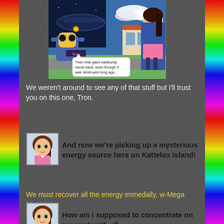[Figure (screenshot): Game screenshot showing a spaceship/battleship scene with a robot character (Tron) and a girl character, with dialogue bubble: 'Then that giant battleship came back, even though it was destroyed long ago...']
We weren't around to see any of that stuff but I'll trust you on this one, Tron.
[Figure (illustration): Avatar portrait of a girl character with brown hair and pink outfit]
And now we're picking up a mysterious energy source here on Kattelox Island!
We must recover all the energy immedally, w-Mega Man!
[Figure (illustration): Avatar portrait of a girl character with brown hair and pink outfit]
How am I supposed to concentrate on my work with all